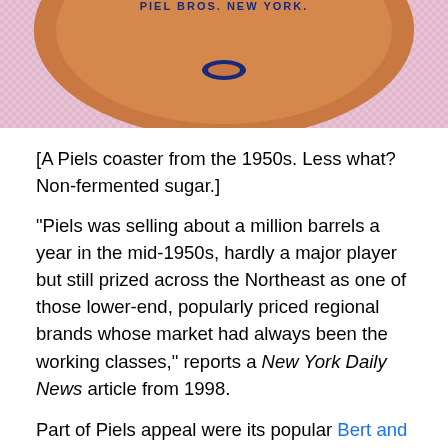[Figure (photo): Top portion of a Piels beer coaster from the 1950s, showing an oval/circular shape with orange/brown and pink checkered background. Text on coaster reads 'PIEL BROS. NEW YORK.' with a small logo.]
[A Piels coaster from the 1950s. Less what? Non-fermented sugar.]
“Piels was selling about a million barrels a year in the mid-1950s, hardly a major player but still prized across the Northeast as one of those lower-end, popularly priced regional brands whose market had always been the working classes,” reports a New York Daily News article from 1998.
Part of Piels appeal were its popular Bert and Harry commercials. When the company dropped the campaign, the beer’s popularity plunged too. After taking over a few other local breweries. Piel’s sold itself to a Michigan